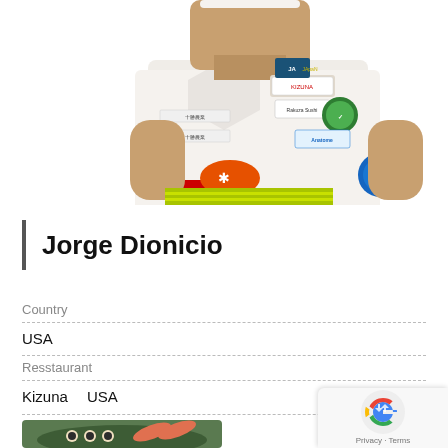[Figure (photo): Chef Jorge Dionicio in white chef uniform with multiple badges/logos including JFC, JA, Kizuna, wearing white chef coat with colorful aprons, hands positioned in front, cropped from chest up]
Jorge Dionicio
Country
USA
Resstaurant
Kizuna 　USA
[Figure (photo): A plate of sushi and Japanese food arranged on a dark circular plate, partially visible at bottom of page]